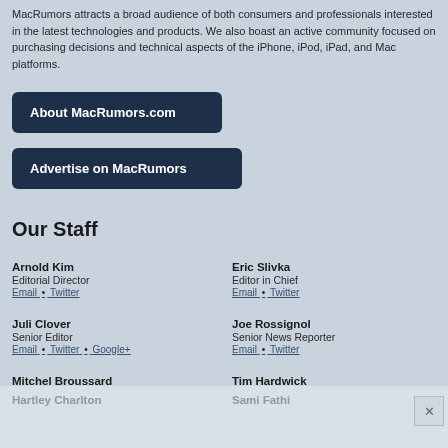MacRumors attracts a broad audience of both consumers and professionals interested in the latest technologies and products. We also boast an active community focused on purchasing decisions and technical aspects of the iPhone, iPod, iPad, and Mac platforms.
About MacRumors.com
Advertise on MacRumors
Our Staff
Arnold Kim
Editorial Director
Email • Twitter
Eric Slivka
Editor in Chief
Email • Twitter
Juli Clover
Senior Editor
Email • Twitter • Google+
Joe Rossignol
Senior News Reporter
Email • Twitter
Mitchel Broussard
Deals Editor
Email • Twitter
Tim Hardwick
Senior Editor
Email • Twitter
Hartley Charlton
Sami Fathi